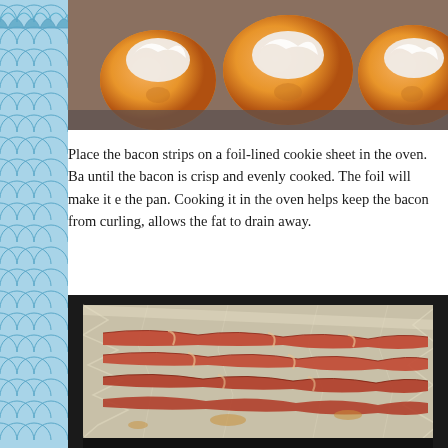[Figure (photo): Close-up photo of halved peaches topped with white cream or ice cream on a baking surface]
Place the bacon strips on a foil-lined cookie sheet in the oven. Ba... until the bacon is crisp and evenly cooked. The foil will make it e... the pan. Cooking it in the oven helps keep the bacon from curling... allows the fat to drain away.
[Figure (photo): Bacon strips laid flat on a foil-lined baking sheet with rendered fat visible]